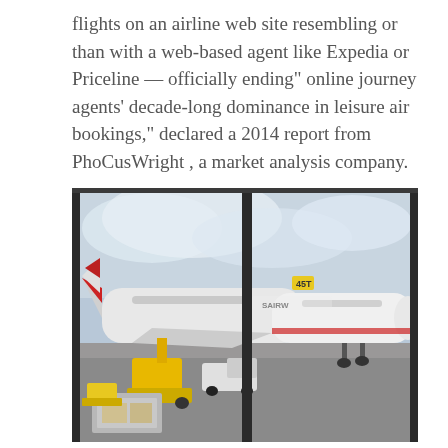flights on an airline web site resembling or than with a web-based agent like Expedia or Priceline — officially ending" online journey agents' decade-long dominance in leisure air bookings," declared a 2014 report from PhoCusWright , a market analysis company.
[Figure (photo): Airport tarmac scene viewed through glass windows with dark vertical frames. Two commercial airplanes (US Airways livery) are visible on the tarmac. Ground support equipment including yellow cargo loaders and a truck are visible in the foreground. Overcast sky in the background.]